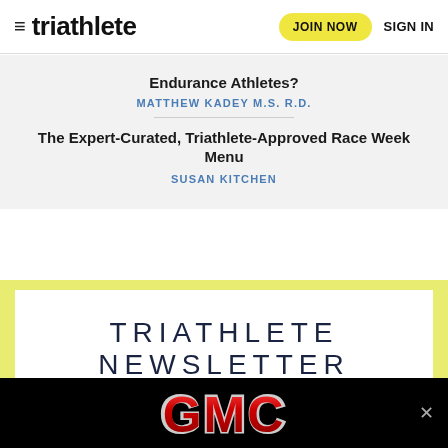triathlete | JOIN NOW | SIGN IN
Endurance Athletes?
MATTHEW KADEY M.S. R.D.
The Expert-Curated, Triathlete-Approved Race Week Menu
SUSAN KITCHEN
TRIATHLETE NEWSLETTER
Train smarter, race faster, and crush your tri
[Figure (logo): GMC logo on black background advertisement banner]